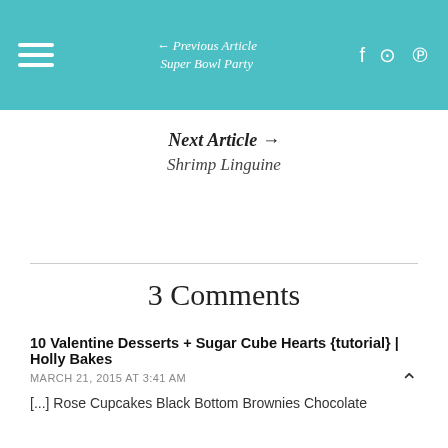← Previous Article Super Bowl Party
Next Article → Shrimp Linguine
3 Comments
10 Valentine Desserts + Sugar Cube Hearts {tutorial} | Holly Bakes
MARCH 21, 2015 AT 3:41 AM
[...] Rose Cupcakes Black Bottom Brownies Chocolate